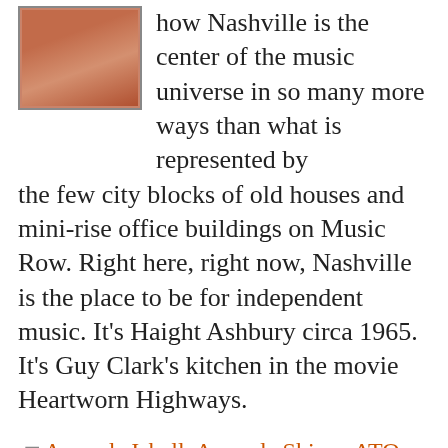[Figure (photo): Small portrait photo of a person, partially visible at top left, warm orange-red tones]
how Nashville is the center of the music universe in so many more ways than what is represented by the few city blocks of old houses and mini-rise office buildings on Music Row. Right here, right now, Nashville is the place to be for independent music. It's Haight Ashbury circa 1965. It's Guy Clark's kitchen in the movie Heartworn Highways.
Amanda Isbell, Amanda Shires, ATO Records, Austin Lucas, Bloodshot Records, Caitlin Rose, Drive By Truckers, Escondido, Guy Clark, Heartworn Highways, Jash Hedley, Jason Isbell, Jonny Fritz, Justin Townes Earle, Nikki Lane, Rayland Baxter, Roger Miller, Shonna Tucker, Skylar Wilson, Spencer Cullum, Sturgill Simpson, Texas Playboys, Thrift Store Cowboys, Tristen